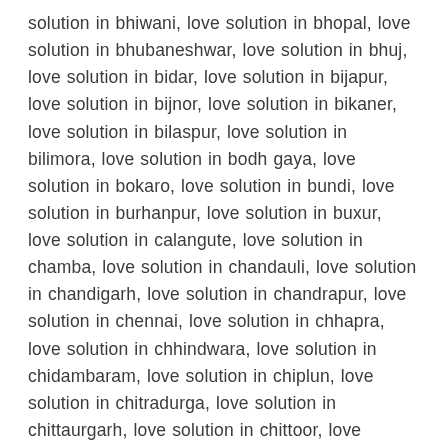solution in bhiwani, love solution in bhopal, love solution in bhubaneshwar, love solution in bhuj, love solution in bidar, love solution in bijapur, love solution in bijnor, love solution in bikaner, love solution in bilaspur, love solution in bilimora, love solution in bodh gaya, love solution in bokaro, love solution in bundi, love solution in burhanpur, love solution in buxur, love solution in calangute, love solution in chamba, love solution in chandauli, love solution in chandigarh, love solution in chandrapur, love solution in chennai, love solution in chhapra, love solution in chhindwara, love solution in chidambaram, love solution in chiplun, love solution in chitradurga, love solution in chittaurgarh, love solution in chittoor, love solution in churu, love solution in coimbatore, love solution in cooch behar, love solution in cuddapah, love solution in cuttack, love solution in dahod, love solution in dalhousie, love solution in davangere, love solution in dehradun, love solution in dehri, love solution in delhi, love solution in deoria, love solution in dewas, love solution in dhanbad, love solution in dharamshala, love solution in dholpur, love solution in didwana, love solution in dispur, love